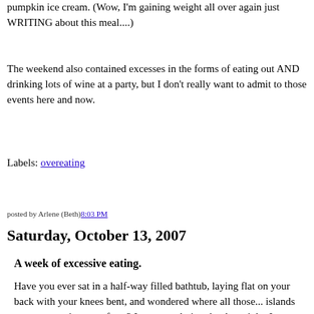pumpkin ice cream. (Wow, I'm gaining weight all over again just WRITING about this meal....)
The weekend also contained excesses in the forms of eating out AND drinking lots of wine at a party, but I don't really want to admit to those events here and now.
Labels: overeating
posted by Arlene (Beth) 8:03 PM
Saturday, October 13, 2007
A week of excessive eating.
Have you ever sat in a half-way filled bathtub, laying flat on your back with your knees bent, and wondered where all those... islands near your waist came from? I was wondering that last night. It was a pleasant bath, but I was there for a considerable amount of time.